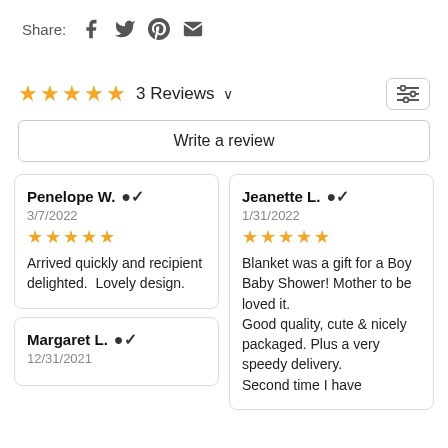Share: [Facebook] [Twitter] [Pinterest] [Email]
★★★★★ 3 Reviews ∨
Write a review
Penelope W. ✔
3/7/2022
★★★★★
Arrived quickly and recipient delighted.  Lovely design.
Jeanette L. ✔
1/31/2022
★★★★★
Blanket was a gift for a Boy Baby Shower! Mother to be loved it.
Good quality, cute & nicely packaged. Plus a very speedy delivery.
Second time I have
Margaret L. ✔
12/31/2021